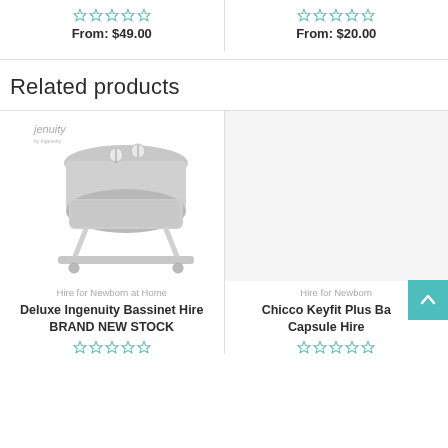[Figure (other): Star rating (empty stars) for product, From: $49.00]
From: $49.00
[Figure (other): Star rating (empty stars) for product, From: $20.00]
From: $20.00
Related products
[Figure (photo): Photo of Deluxe Ingenuity Bassinet, grey color with canopy and white frame on wheels, with Ingenuity logo visible]
Hire for Newborn at Home
Deluxe Ingenuity Bassinet Hire BRAND NEW STOCK
[Figure (photo): Partially visible product image for Chicco Keyfit Plus Baby Capsule Hire]
Hire for Newborn
Chicco Keyfit Plus Baby Capsule Hire